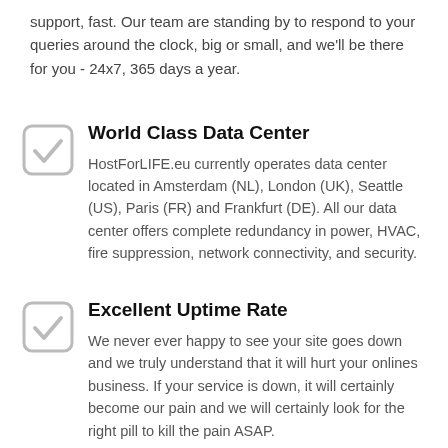support, fast. Our team are standing by to respond to your queries around the clock, big or small, and we'll be there for you - 24x7, 365 days a year.
[Figure (illustration): Gray rounded square checkbox icon with a checkmark]
World Class Data Center
HostForLIFE.eu currently operates data center located in Amsterdam (NL), London (UK), Seattle (US), Paris (FR) and Frankfurt (DE). All our data center offers complete redundancy in power, HVAC, fire suppression, network connectivity, and security.
[Figure (illustration): Gray rounded square checkbox icon with a checkmark]
Excellent Uptime Rate
We never ever happy to see your site goes down and we truly understand that it will hurt your onlines business. If your service is down, it will certainly become our pain and we will certainly look for the right pill to kill the pain ASAP.
[Figure (illustration): Gray rounded square checkbox icon with a checkmark (partially visible at bottom)]
Best Technology